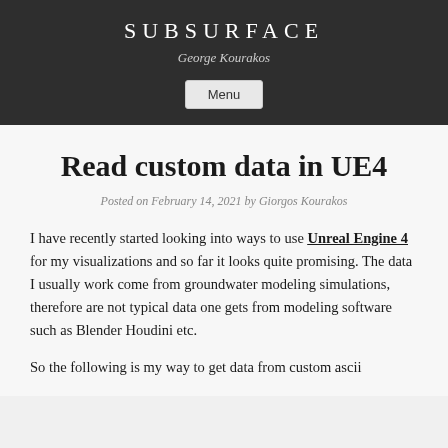SUBSURFACE
George Kourakos
Menu
Read custom data in UE4
Posted on February 14, 2021 by Giorgos Kourakos
I have recently started looking into ways to use Unreal Engine 4 for my visualizations and so far it looks quite promising. The data I usually work come from groundwater modeling simulations, therefore are not typical data one gets from modeling software such as Blender Houdini etc.
So the following is my way to get data from custom ascii